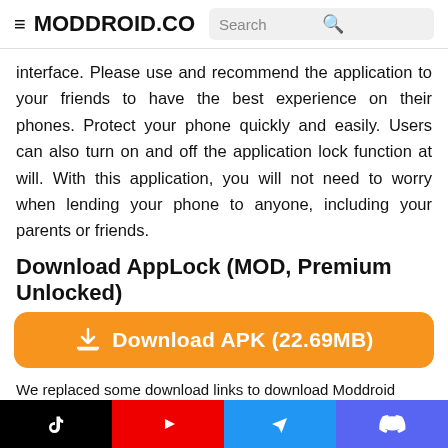≡ MODDROID.CO  Search 🔍
interface. Please use and recommend the application to your friends to have the best experience on their phones. Protect your phone quickly and easily. Users can also turn on and off the application lock function at will. With this application, you will not need to worry when lending your phone to anyone, including your parents or friends.
Download AppLock (MOD, Premium Unlocked)
[Figure (other): Orange download button with download icon and text: Download APK (22.69MB)]
We replaced some download links to download Moddroid APK. You can download AppLockWith a faster download speed.
MODDROID app has more complete contents than MODDROID websites.
[Figure (other): Teal button with Telegram airplane icon and text: Join @MODDROID.CO on Telegram Channel]
TikTok | YouTube | Telegram | Discord